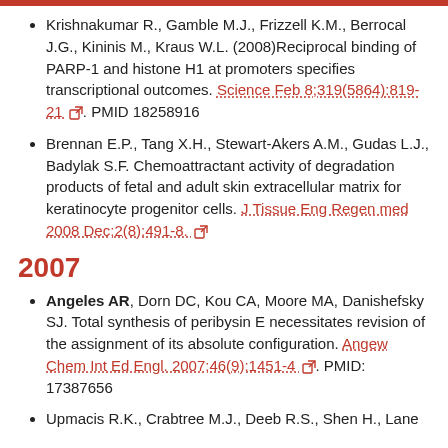Krishnakumar R., Gamble M.J., Frizzell K.M., Berrocal J.G., Kininis M., Kraus W.L. (2008)Reciprocal binding of PARP-1 and histone H1 at promoters specifies transcriptional outcomes. Science Feb 8;319(5864):819-21. PMID 18258916
Brennan E.P., Tang X.H., Stewart-Akers A.M., Gudas L.J., Badylak S.F. Chemoattractant activity of degradation products of fetal and adult skin extracellular matrix for keratinocyte progenitor cells. J Tissue Eng Regen med 2008 Dec;2(8):491-8.
2007
Angeles AR, Dorn DC, Kou CA, Moore MA, Danishefsky SJ. Total synthesis of peribysin E necessitates revision of the assignment of its absolute configuration. Angew Chem Int Ed Engl. 2007;46(9):1451-4. PMID: 17387656
Upmacis R.K., Crabtree M.J., Deeb R.S., Shen H., Lane